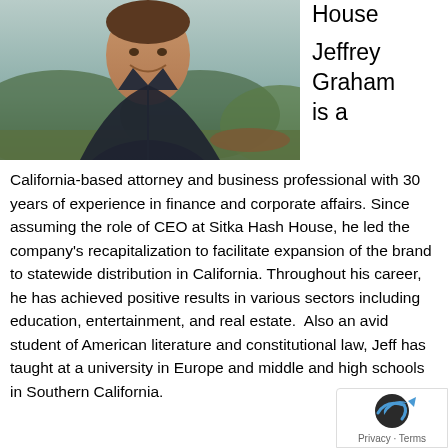[Figure (photo): Photo of Jeffrey Graham, a man smiling, outdoors with trees and landscape in background]
House

Jeffrey Graham is a
California-based attorney and business professional with 30 years of experience in finance and corporate affairs. Since assuming the role of CEO at Sitka Hash House, he led the company's recapitalization to facilitate expansion of the brand to statewide distribution in California. Throughout his career, he has achieved positive results in various sectors including education, entertainment, and real estate.  Also an avid student of American literature and constitutional law, Jeff has taught at a university in Europe and middle and high schools in Southern California.